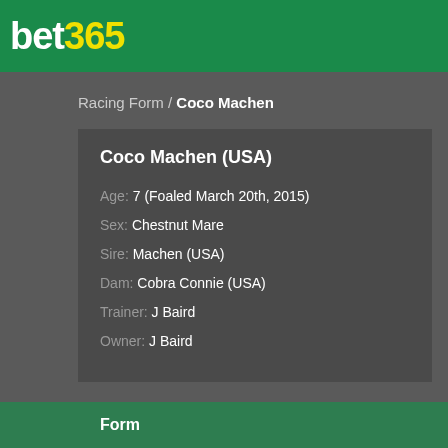bet365
Racing Form / Coco Machen
Coco Machen (USA)
Age: 7 (Foaled March 20th, 2015)
Sex: Chestnut Mare
Sire: Machen (USA)
Dam: Cobra Connie (USA)
Trainer: J Baird
Owner: J Baird
Form